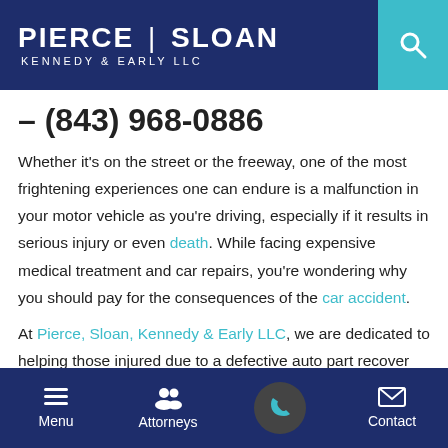[Figure (logo): Pierce | Sloan Kennedy & Early LLC law firm logo on dark navy header with teal search icon]
– (843) 968-0886
Whether it's on the street or the freeway, one of the most frightening experiences one can endure is a malfunction in your motor vehicle as you're driving, especially if it results in serious injury or even death. While facing expensive medical treatment and car repairs, you're wondering why you should pay for the consequences of the car accident.
At Pierce, Sloan, Kennedy & Early LLC, we are dedicated to helping those injured due to a defective auto part recover the compensation they deserve. Our Charleston auto defect
[Figure (screenshot): Mobile app bottom navigation bar with Menu, Attorneys, phone call button, and Contact options on dark navy background]